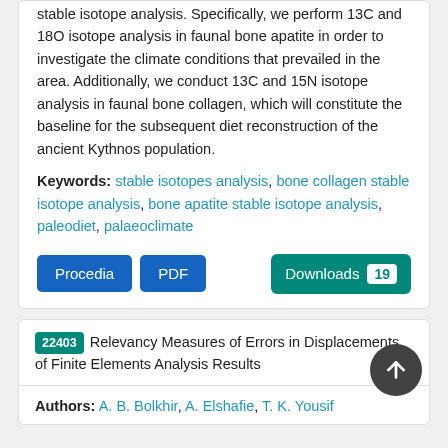stable isotope analysis. Specifically, we perform 13C and 18O isotope analysis in faunal bone apatite in order to investigate the climate conditions that prevailed in the area. Additionally, we conduct 13C and 15N isotope analysis in faunal bone collagen, which will constitute the baseline for the subsequent diet reconstruction of the ancient Kythnos population.
Keywords: stable isotopes analysis, bone collagen stable isotope analysis, bone apatite stable isotope analysis, paleodiet, palaeoclimate
22403 Relevancy Measures of Errors in Displacements of Finite Elements Analysis Results
Authors: A. B. Bolkhir, A. Elshafie, T. K. Yousif